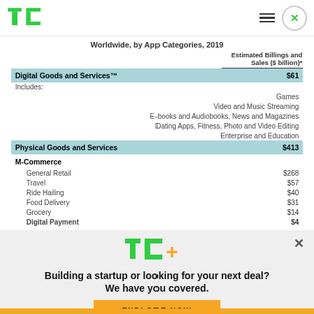TechCrunch (TC logo) - navigation bar
Worldwide, by App Categories, 2019
|  | Estimated Billings and Sales ($ billion)* |
| --- | --- |
| Digital Goods and Services™ | $61 |
| Includes: |  |
| Games |  |
| Video and Music Streaming |  |
| E-books and Audiobooks, News and Magazines |  |
| Dating Apps, Fitness, Photo and Video Editing |  |
| Enterprise and Education |  |
| Physical Goods and Services | $413 |
| M-Commerce |  |
| General Retail | $268 |
| Travel | $57 |
| Ride Hailing | $40 |
| Food Delivery | $31 |
| Grocery | $14 |
| Digital Payment | $4 |
[Figure (logo): TechCrunch TC+ logo in green and yellow]
Building a startup or looking for your next deal? We have you covered.
EXPLORE NOW